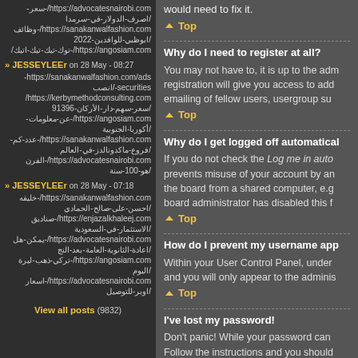https://advocatesnairobi.com/-سعر-/اصرف-الدولار-في-سرمدا https://sanakanwalfashion.com/-وظائف-/ابوظبي-للوافدين-2022 https://angosiam.com/-توك-تيك-تيك-اتيك
JESSEYLEEr on 28 May - 08:27
https://sanakanwalfashion.com/ads-securities-/انصب https://kerbymethodconsulting.com/سعر-سهم-دار-الأركان-91396/ https://angosiam.com/-عن-معلومات-/أكوربا-الجنوبية https://sanakanwalfashion.com/-عدد-كم-/فروع-ماكدونالدز-في-العالم https://advocatesnairobi.com/-الفرن-/هو-100-سنة
JESSEYLEEr on 28 May - 07:18
https://sanakanwalfashion.com/-خليفه-/احسن-على-صالح-الحمادي https://enjazalkhaleej.com/-صناديق-/الاستثمار-في-السعودية https://advocatesnairobi.com/-يمكن-هل-/اعادة-الثانوية-العامة-بعد-النج https://angosiam.com/-تركي-ذهب-ليرة-/اليوم https://advocatesnairobi.com/-اسعار-/اوبر-للتوصيل
View all posts (9832)
would need to fix it.
Top
Why do I need to register at all?
You may not have to, it is up to the adm registration will give you access to add emailing of fellow users, usergroup su
Top
Why do I get logged off automatical
If you do not check the Log me in auto prevents misuse of your account by an the board from a shared computer, e.g board administrator has disabled this f
Top
How do I prevent my username app
Within your User Control Panel, under and you will only appear to the adminis
Top
I've lost my password!
Don't panic! While your password can Follow the instructions and you should
Top